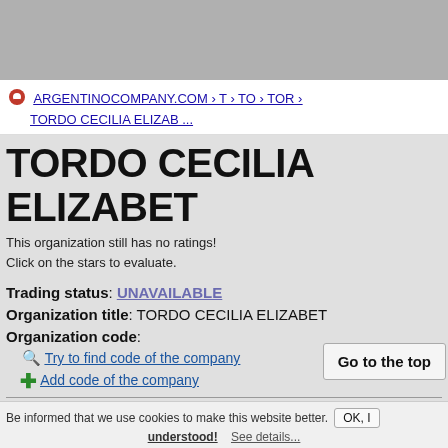[Figure (screenshot): Gray top bar area of browser screenshot]
ARGENTINOCOMPANY.COM › T › TO › TOR › TORDO CECILIA ELIZAB ...
TORDO CECILIA ELIZABET
This organization still has no ratings!
Click on the stars to evaluate.
Trading status: UNAVAILABLE
Organization title: TORDO CECILIA ELIZABET
Organization code:
🔍 Try to find code of the company
➕ Add code of the company
Related persons:
Go to the top
Be informed that we use cookies to make this website better. OK, I understood! See details...